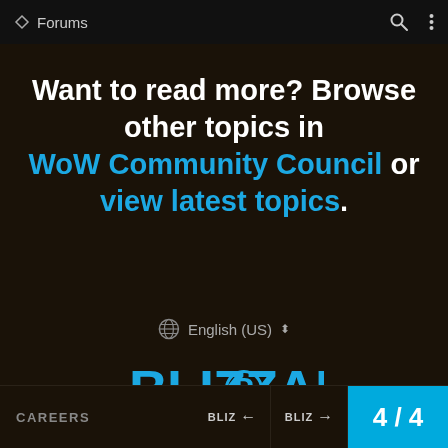Forums
Want to read more? Browse other topics in WoW Community Council or view latest topics.
English (US)
[Figure (logo): Blizzard Entertainment logo in cyan/blue color on dark background]
CAREERS  BLIZ ← BLIZ → 4 / 4